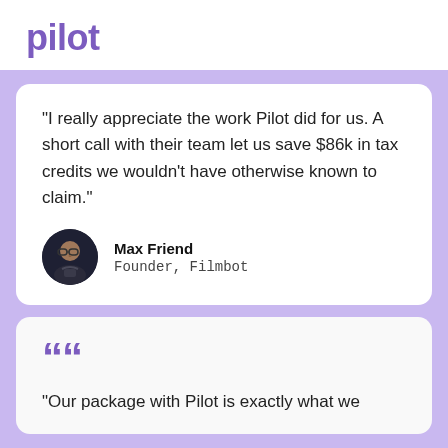pilot
“I really appreciate the work Pilot did for us. A short call with their team let us save $86k in tax credits we wouldn’t have otherwise known to claim.”
Max Friend
Founder, Filmbot
[Figure (photo): Circular profile photo of Max Friend]
“Our package with Pilot is exactly what we